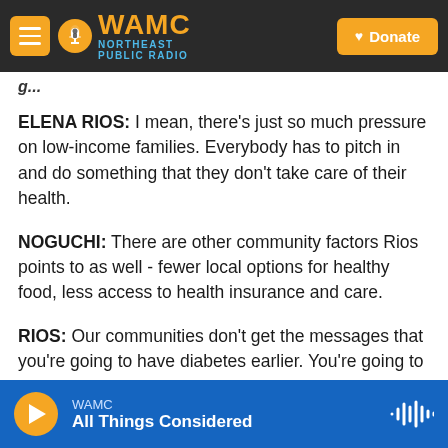WAMC Northeast Public Radio — Donate
ELENA RIOS: I mean, there's just so much pressure on low-income families. Everybody has to pitch in and do something that they don't take care of their health.
NOGUCHI: There are other community factors Rios points to as well - fewer local options for healthy food, less access to health insurance and care.
RIOS: Our communities don't get the messages that you're going to have diabetes earlier. You're going to have heart disease earlier in your life. And by the
WAMC — All Things Considered